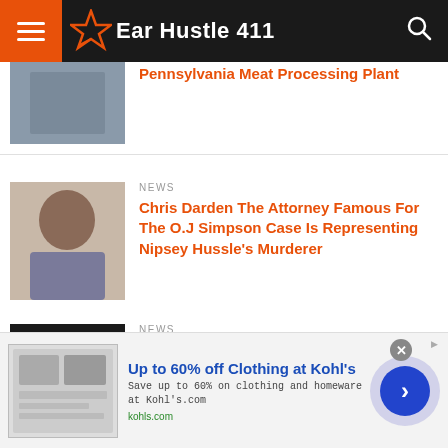Ear Hustle 411
[Figure (photo): Partially visible thumbnail image at top]
Pennsylvania Meat Processing Plant
NEWS
[Figure (photo): Photo of a man in suit and tie, appearing to be in a courtroom setting]
Chris Darden The Attorney Famous For The O.J Simpson Case Is Representing Nipsey Hussle's Murderer
NEWS
[Figure (photo): Photo of a young Black man wearing a gold chain]
Family Says After Watching Body Cam Video, California Rapper Was Sleeping When Cops Executed Him
[Figure (other): Advertisement banner for Kohl's clothing sale]
Up to 60% off Clothing at Kohl's
Save up to 60% on clothing and homeware at Kohl's.com
kohls.com